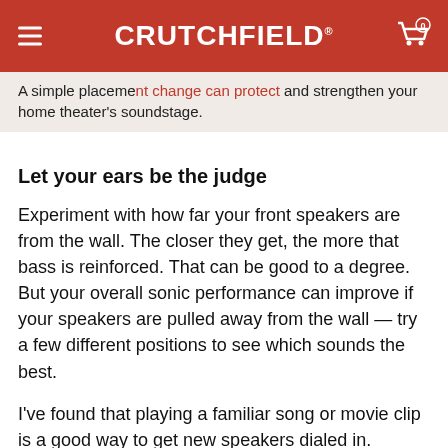CRUTCHFIELD
A simple placement change can protect and strengthen your home theater's soundstage.
Let your ears be the judge
Experiment with how far your front speakers are from the wall. The closer they get, the more that bass is reinforced. That can be good to a degree. But your overall sonic performance can improve if your speakers are pulled away from the wall — try a few different positions to see which sounds the best.
I've found that playing a familiar song or movie clip is a good way to get new speakers dialed in. Listening to the same passage after each